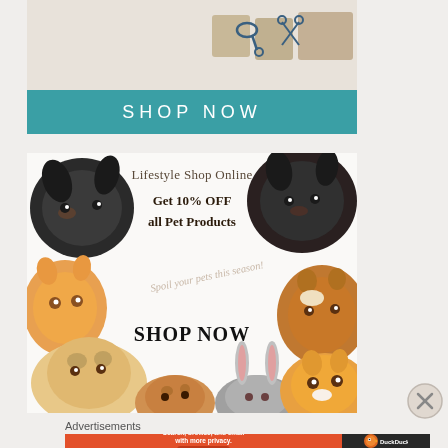[Figure (photo): Partial view of wooden blocks/toys on light surface, top of an advertisement]
SHOP NOW
[Figure (photo): Pet store advertisement showing multiple animals (cats, dogs, rabbit, guinea pig) surrounding text: 'Lifestyle Shop Online - Get 10% OFF all Pet Products - Spoil your pets this season! - SHOP NOW']
Advertisements
[Figure (photo): DuckDuckGo advertisement banner: 'Search, browse, and email with more privacy. All in One Free App' with DuckDuckGo logo on dark background]